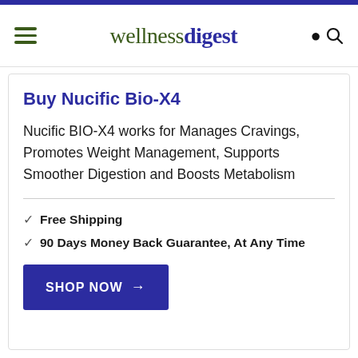wellnessdigest
Buy Nucific Bio-X4
Nucific BIO-X4 works for Manages Cravings, Promotes Weight Management, Supports Smoother Digestion and Boosts Metabolism
Free Shipping
90 Days Money Back Guarantee, At Any Time
SHOP NOW →